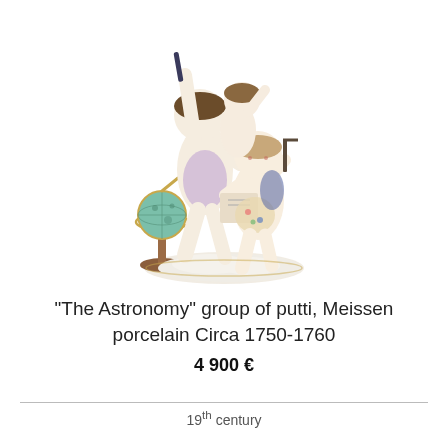[Figure (photo): A Meissen porcelain figurine group showing three putti (cherubs) engaged in astronomical activities. One holds a telescope, another holds a book or chart, and a third is pointing upward. A celestial globe on a stand is visible to the left of the group. The figures are decorated in soft colors including lilac and blue drapery.]
“The Astronomy” group of putti, Meissen porcelain Circa 1750-1760
4 900 €
19th century